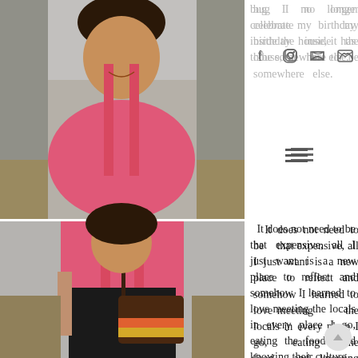[Figure (photo): Woman in pink top and black skirt with crossbody bag, standing outdoors near wooden shelves with flowers and decorations]
bug I no longer celebrate my birthday inside the house, it has to be somewhere else.
It does not need to be that expensive, all I just want is a new place to reflect and somehow I learned to love meeting the locals in every place I go, eating the food  and knowing their culture.
It just so happen that last year, I spent it at EDSA Shangri-la Manila, it is a 5 – star hotel I know.  If not for the contest I won, celebrating my natal day in a suite that costs PHP17k or USD361 plus a two – hour body massage and wrap that